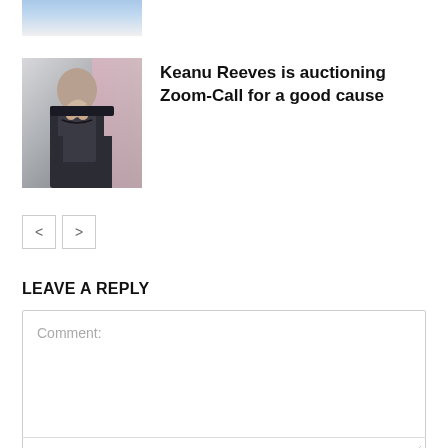[Figure (photo): Partial cropped photo at top of a person's face/neck, cut off at page top]
[Figure (photo): Photo of Keanu Reeves with dark hair, beard, wearing a dark suit, with pink background]
Keanu Reeves is auctioning Zoom-Call for a good cause
< >
LEAVE A REPLY
Comment: